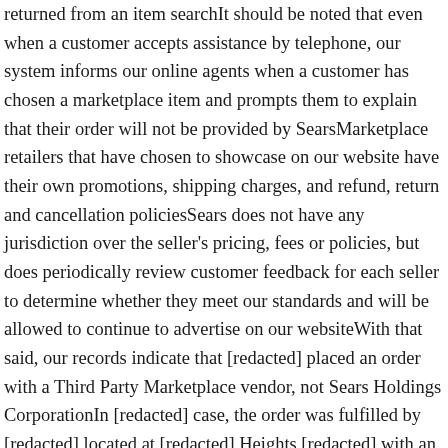returned from an item searchIt should be noted that even when a customer accepts assistance by telephone, our system informs our online agents when a customer has chosen a marketplace item and prompts them to explain that their order will not be provided by SearsMarketplace retailers that have chosen to showcase on our website have their own promotions, shipping charges, and refund, return and cancellation policiesSears does not have any jurisdiction over the seller's pricing, fees or policies, but does periodically review customer feedback for each seller to determine whether they meet our standards and will be allowed to continue to advertise on our websiteWith that said, our records indicate that [redacted] placed an order with a Third Party Marketplace vendor, not Sears Holdings CorporationIn [redacted] case, the order was fulfilled by [redacted] located at [redacted] Heights [redacted] with an email address of [email protected] [redacted] .com and telephone number ( [redacted] We have a very comprehensive disclaimer on our website that sets